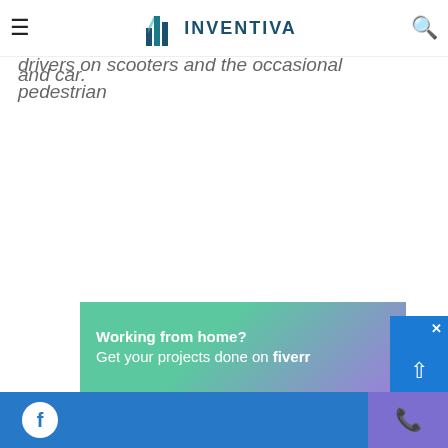INVENTIVA
high-risk on Wednesday. the streets were practically deserted apart from a few delivery drivers on scooters and the occasional pedestrian and car.
[Figure (infographic): Advertisement banner: 'Working from home? Get your projects done on fiverr' with green-to-purple gradient background]
Facebook icon | Phone icon